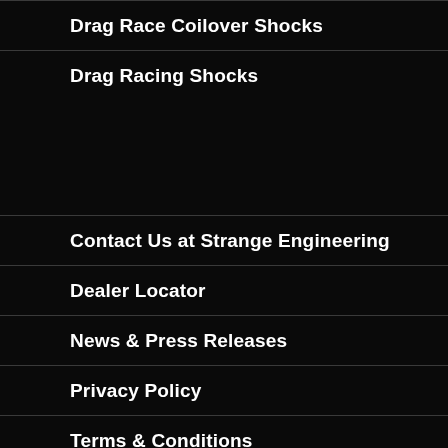Drag Race Coilover Shocks
Drag Racing Shocks
Contact Us at Strange Engineering
Dealer Locator
News & Press Releases
Privacy Policy
Terms & Conditions
Dealer Log In
[Figure (infographic): Social media icons row: Facebook (blue), Twitter (light blue), Instagram (grey), YouTube (red)]